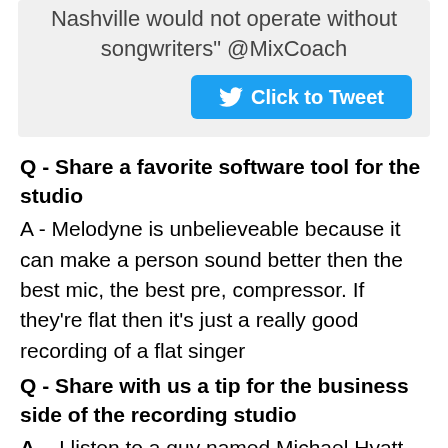Nashville would not operate without songwriters" @MixCoach
[Figure (other): Click to Tweet button with Twitter bird icon]
Q - Share a favorite software tool for the studio
A - Melodyne is unbelieveable because it can make a person sound better then the best mic, the best pre, compressor. If they're flat then it's just a really good recording of a flat singer
Q - Share with us a tip for the business side of the recording studio
A -  I listen to a guy named Michael Hyatt, he's a great resource for leaders.